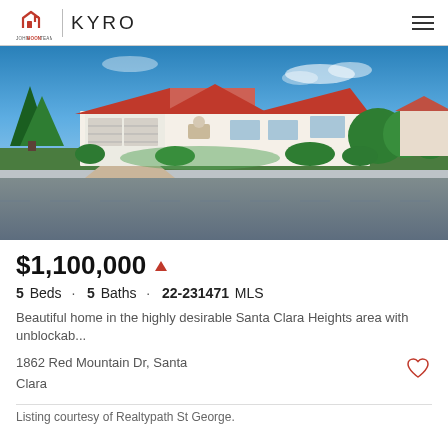KYRO — John Hoon Team
[Figure (photo): Exterior photo of a single-story home with terracotta roof tiles, white stucco exterior, two-car garage, green lawn, trees, and blue sky. Street view from across the road.]
$1,100,000 ▲
5 Beds · 5 Baths · 22-231471 MLS
Beautiful home in the highly desirable Santa Clara Heights area with unblockab...
1862 Red Mountain Dr, Santa Clara
Listing courtesy of Realtypath St George.